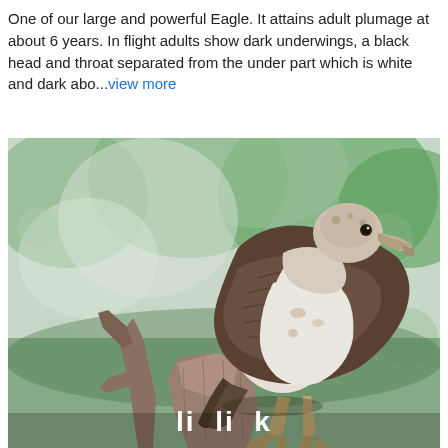One of our large and powerful Eagle. It attains adult plumage at about 6 years. In flight adults show dark underwings, a black head and throat separated from the under part which is white and dark abo...view more
[Figure (photo): A large eagle with brown and white plumage perched on a dead tree stump, with green blurred foliage in the background. The eagle faces right, showing a dark beak, white chest, and brown wings.]